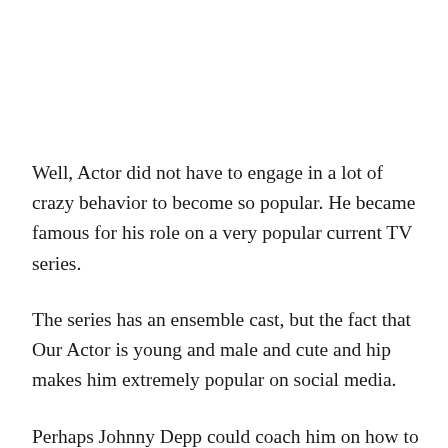Well, Actor did not have to engage in a lot of crazy behavior to become so popular. He became famous for his role on a very popular current TV series.
The series has an ensemble cast, but the fact that Our Actor is young and male and cute and hip makes him extremely popular on social media.
Perhaps Johnny Depp could coach him on how to balance burgeoning stardom, a hot acting career, a